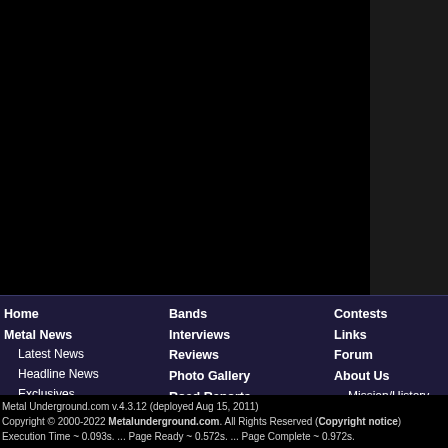[Figure (other): Black content area (main page content area, appears blank/black due to cropping)]
Home
Metal News
Latest News
Headline News
Exclusives
Site Updates
Submit News
Bands
Interviews
Reviews
Photo Gallery
Road Reports
Just For Fun
Contests
Links
Forum
About Us
Mission/History
Staff
Contact Us
Colum
Unea
Unde
Sund
Pit St
Rock
Op/Ed
Metal Underground.com v.4.3.12 (deployed Aug 15, 2011)
Copyright © 2000-2022 Metalunderground.com. All Rights Reserved (Copyright notice)
Execution Time ~ 0.093s. ... Page Ready ~ 0.572s. ... Page Complete ~ 0.972s.